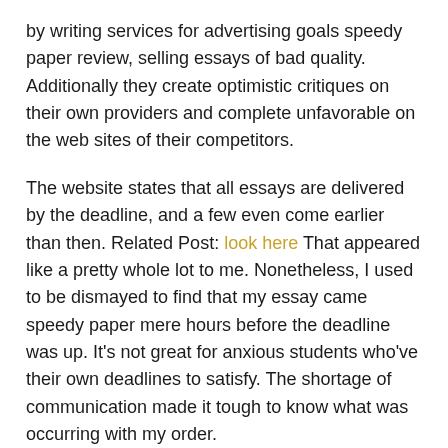by writing services for advertising goals speedy paper review, selling essays of bad quality. Additionally they create optimistic critiques on their own providers and complete unfavorable on the web sites of their competitors.
The website states that all essays are delivered by the deadline, and a few even come earlier than then. Related Post: look here That appeared like a pretty whole lot to me. Nonetheless, I used to be dismayed to find that my essay came speedy paper mere hours before the deadline was up. It's not great for anxious students who've their own deadlines to satisfy. The shortage of communication made it tough to know what was occurring with my order.